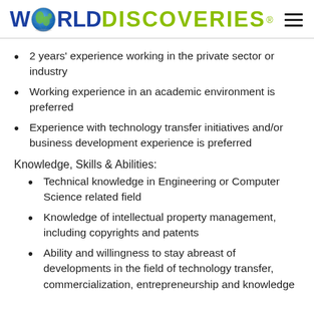WORLDDISCOVERIES®
2 years' experience working in the private sector or industry
Working experience in an academic environment is preferred
Experience with technology transfer initiatives and/or business development experience is preferred
Knowledge, Skills & Abilities:
Technical knowledge in Engineering or Computer Science related field
Knowledge of intellectual property management, including copyrights and patents
Ability and willingness to stay abreast of developments in the field of technology transfer, commercialization, entrepreneurship and knowledge mobilization